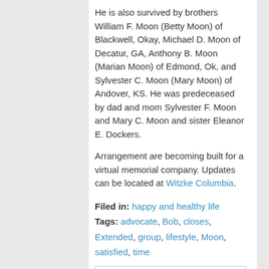He is also survived by brothers William F. Moon (Betty Moon) of Blackwell, Okay, Michael D. Moon of Decatur, GA, Anthony B. Moon (Marian Moon) of Edmond, Ok, and Sylvester C. Moon (Mary Moon) of Andover, KS. He was predeceased by dad and mom Sylvester F. Moon and Mary C. Moon and sister Eleanor E. Dockers.
Arrangement are becoming built for a virtual memorial company. Updates can be located at Witzke Columbia.
Filed in: happy and healthy life
Tags: advocate, Bob, closes, Extended, group, lifestyle, Moon, satisfied, time
Share This Post
[Figure (infographic): Social sharing icons: Twitter (blue bird), Facebook (blue f), Google+ (red G+), LinkedIn (blue in), Print (teal printer)]